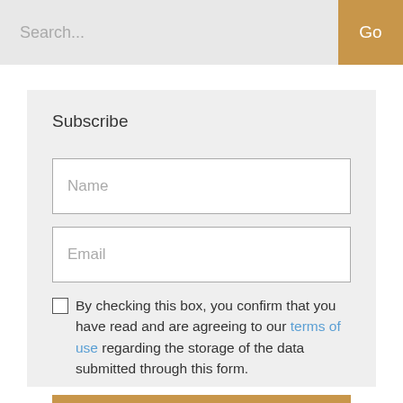Search...
Go
Subscribe
Name
Email
By checking this box, you confirm that you have read and are agreeing to our terms of use regarding the storage of the data submitted through this form.
Subscribe